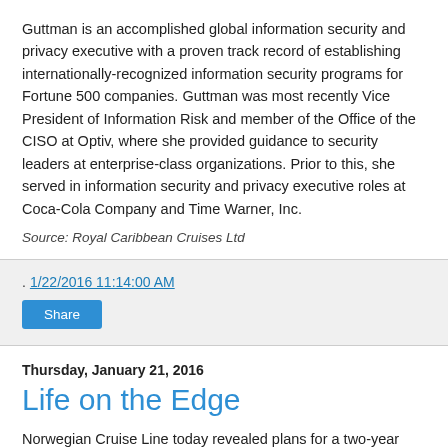Guttman is an accomplished global information security and privacy executive with a proven track record of establishing internationally-recognized information security programs for Fortune 500 companies. Guttman was most recently Vice President of Information Risk and member of the Office of the CISO at Optiv, where she provided guidance to security leaders at enterprise-class organizations. Prior to this, she served in information security and privacy executive roles at Coca-Cola Company and Time Warner, Inc.
Source: Royal Caribbean Cruises Ltd
. 1/22/2016 11:14:00 AM
Share
Thursday, January 21, 2016
Life on the Edge
Norwegian Cruise Line today revealed plans for a two-year